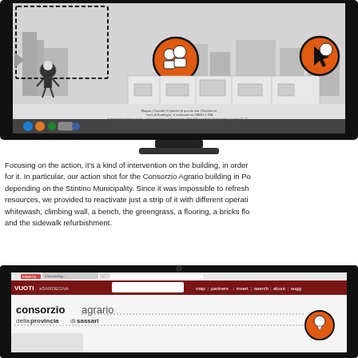[Figure (screenshot): Screenshot of a website showing an illustrated building scene with interactive icons, dashed selection box, navigation taskbar, and footer links. Displayed on a dark monitor frame.]
Focusing on the action, it's a kind of intervention on the building, in order for it. In particular, our action shot for the Consorzio Agrario building in Po depending on the Stintino Municipality. Since it was impossible to refresh resources, we provided to reactivate just a strip of it with different operati whitewash, climbing wall, a bench, the greengrass, a flooring, a bricks flo and the sidewalk refurbishment.
[Figure (screenshot): Screenshot of the VUOTIaSARDEGNA website showing the Consorzio Agrario della Provincia di Sassari page with navigation bar (map, partners, insert, search, about, sugg), an orange circle icon on the right side.]